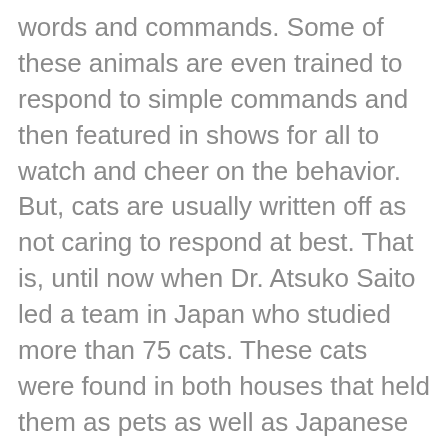words and commands. Some of these animals are even trained to respond to simple commands and then featured in shows for all to watch and cheer on the behavior. But, cats are usually written off as not caring to respond at best. That is, until now when Dr. Atsuko Saito led a team in Japan who studied more than 75 cats. These cats were found in both houses that held them as pets as well as Japanese cat cafes where the felines are left to roam the business to provide observational entertainment for patrons. The findings suggest that even cats seem to be sensitive to changes of tone and sound of the human voice.